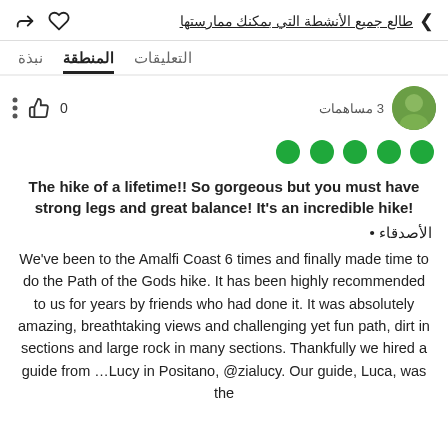طالع جميع الأنشطة التي بمكنك ممارستها
نبذة  المنطقة  التعليقات
3 مساهمات   0 👍
[Figure (other): Five green filled circles representing a 5-dot rating]
The hike of a lifetime!! So gorgeous but you must have strong legs and great balance! It's an incredible hike!
• الأصدقاء
We've been to the Amalfi Coast 6 times and finally made time to do the Path of the Gods hike. It has been highly recommended to us for years by friends who had done it. It was absolutely amazing, breathtaking views and challenging yet fun path, dirt in sections and large rock in many sections. Thankfully we hired a guide from …Lucy in Positano, @zialucy. Our guide, Luca, was the